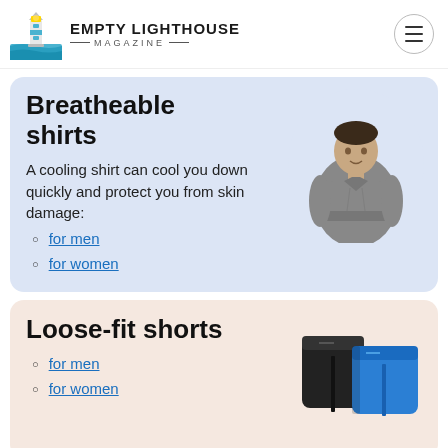EMPTY LIGHTHOUSE MAGAZINE
Breatheable shirts
A cooling shirt can cool you down quickly and protect you from skin damage:
for men
for women
[Figure (photo): Man wearing a gray athletic t-shirt]
Loose-fit shorts
for men
for women
[Figure (photo): Black and blue loose-fit athletic shorts]